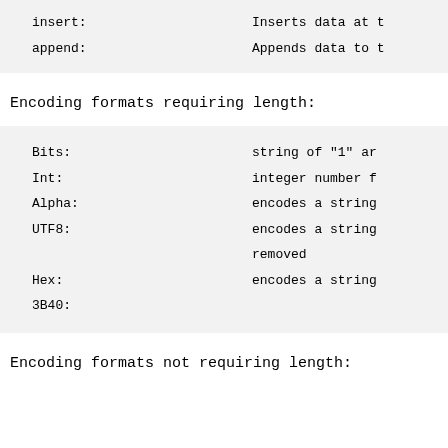| insert: | Inserts data at t |
| append: | Appends data to t |
Encoding formats requiring length:
| Bits: | string of "1" ar |
| Int: | integer number f |
| Alpha: | encodes a string |
| UTF8: | encodes a string removed |
| Hex: | encodes a string |
| 3B40: |  |
Encoding formats not requiring length: